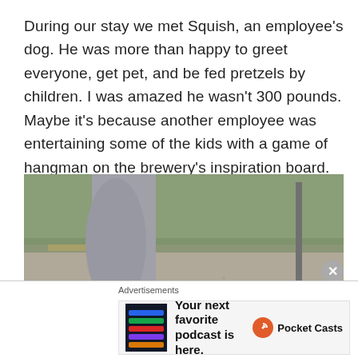During our stay we met Squish, an employee's dog. He was more than happy to greet everyone, get pet, and be fed pretzels by children. I was amazed he wasn't 300 pounds. Maybe it's because another employee was entertaining some of the kids with a game of hangman on the brewery's inspiration board.
[Figure (photo): Outdoor photo showing the lower body of a person in gray leggings standing near a dog (brown and white, viewed from behind) on a gravel path. Green grassy area and a metal pole with base visible in background.]
Advertisements
[Figure (other): Advertisement banner for Pocket Casts podcast app. Shows app screenshot thumbnail on left, bold text 'Your next favorite podcast is here.' in center, and Pocket Casts logo (orange circle with white swirl) and name on right.]